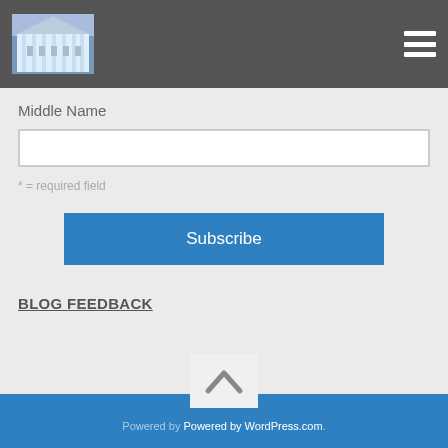[Figure (logo): Building/government logo image in top navigation bar]
Middle Name
* = required field
Subscribe
BLOG FEEDBACK
Powered by Powered by WordPress.com.